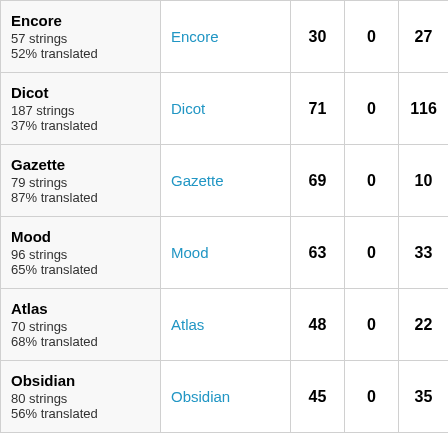| Encore
57 strings
52% translated | Encore | 30 | 0 | 27 |
| Dicot
187 strings
37% translated | Dicot | 71 | 0 | 116 |
| Gazette
79 strings
87% translated | Gazette | 69 | 0 | 10 |
| Mood
96 strings
65% translated | Mood | 63 | 0 | 33 |
| Atlas
70 strings
68% translated | Atlas | 48 | 0 | 22 |
| Obsidian
80 strings
56% translated | Obsidian | 45 | 0 | 35 |